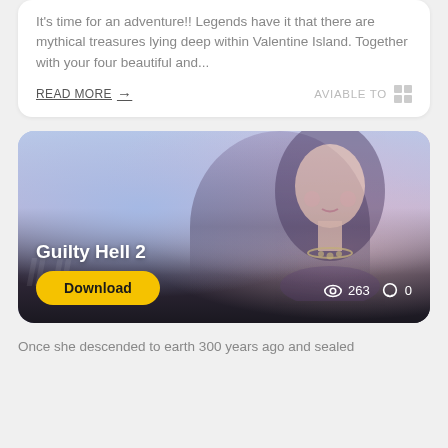It's time for an adventure!! Legends have it that there are mythical treasures lying deep within Valentine Island. Together with your four beautiful and...
READ MORE → AVIABLE TO
[Figure (illustration): Game card for Guilty Hell 2 showing an anime-style female character with dark hair and a necklace against a soft pastel blue/purple background. Includes a yellow Download button, view count of 263, and comment count of 0.]
Once she descended to earth 300 years ago and sealed